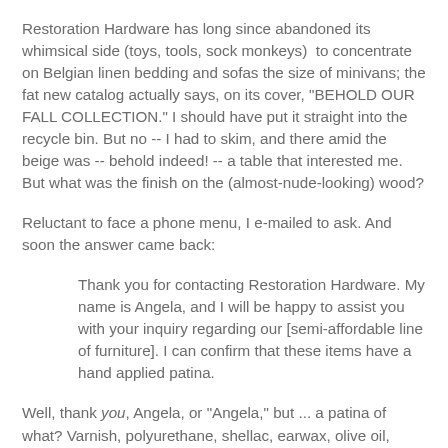Restoration Hardware has long since abandoned its whimsical side (toys, tools, sock monkeys)  to concentrate on Belgian linen bedding and sofas the size of minivans; the fat new catalog actually says, on its cover, "BEHOLD OUR FALL COLLECTION." I should have put it straight into the recycle bin. But no -- I had to skim, and there amid the beige was -- behold indeed! -- a table that interested me. But what was the finish on the (almost-nude-looking) wood?
Reluctant to face a phone menu, I e-mailed to ask. And soon the answer came back:
Thank you for contacting Restoration Hardware. My name is Angela, and I will be happy to assist you with your inquiry regarding our [semi-affordable line of furniture]. I can confirm that these items have a hand applied patina.
Well, thank you, Angela, or "Angela," but ... a patina of what? Varnish, polyurethane, shellac, earwax, olive oil, Love Potion No. 9? I tried again, and today another reply arrived: